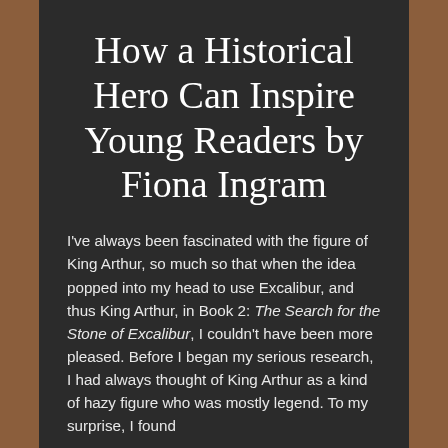How a Historical Hero Can Inspire Young Readers by Fiona Ingram
I've always been fascinated with the figure of King Arthur, so much so that when the idea popped into my head to use Excalibur, and thus King Arthur, in Book 2: The Search for the Stone of Excalibur, I couldn't have been more pleased. Before I began my serious research, I had always thought of King Arthur as a kind of hazy figure who was mostly legend. To my surprise, I found